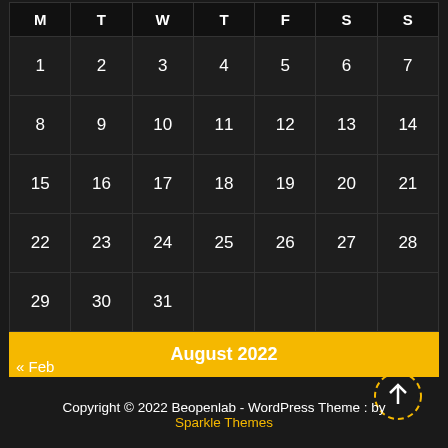| M | T | W | T | F | S | S |
| --- | --- | --- | --- | --- | --- | --- |
| 1 | 2 | 3 | 4 | 5 | 6 | 7 |
| 8 | 9 | 10 | 11 | 12 | 13 | 14 |
| 15 | 16 | 17 | 18 | 19 | 20 | 21 |
| 22 | 23 | 24 | 25 | 26 | 27 | 28 |
| 29 | 30 | 31 |  |  |  |  |
August 2022
« Feb
Copyright © 2022 Beopenlab - WordPress Theme : by Sparkle Themes